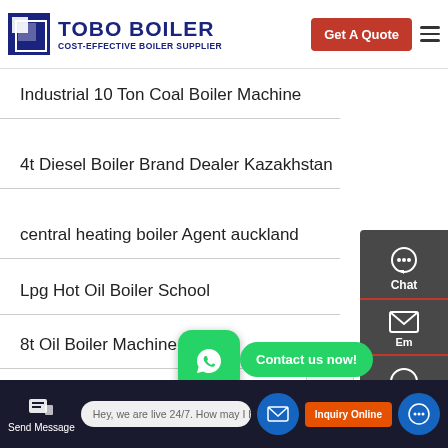[Figure (logo): TOBO BOILER logo with blue text and icon, tagline COST-EFFECTIVE BOILER SUPPLIER, red Get A Quote button, hamburger menu]
Industrial 10 Ton Coal Boiler Machine
4t Diesel Boiler Brand Dealer Kazakhstan
central heating boiler Agent auckland
Lpg Hot Oil Boiler School
8t Oil Boiler Machine Dealer
Cheap 10 Ton gas fired condensing Boiler
Gas Fired Boilers Machine Price
[Figure (screenshot): Side panel with Chat, Email, and message icons on dark background. WhatsApp bubble with Contact us now! banner. TOP button. Bottom bar with Send Message, live chat input, mail icon, Inquiry Online button, and chat circle.]